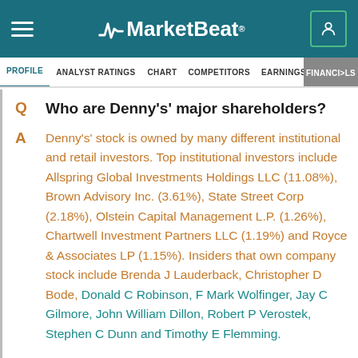MarketBeat
PROFILE  ANALYST RATINGS  CHART  COMPETITORS  EARNINGS  FINANCIALS
Q  Who are Denny's' major shareholders?
A  Denny's' stock is owned by many different institutional and retail investors. Top institutional investors include Allspring Global Investments Holdings LLC (11.08%), Brown Advisory Inc. (3.61%), State Street Corp (2.18%), Olstein Capital Management L.P. (1.26%), Chartwell Investment Partners LLC (1.19%) and Royce & Associates LP (1.15%). Insiders that own company stock include Brenda J Lauderback, Christopher D Bode, Donald C Robinson, F Mark Wolfinger, Jay C Gilmore, John William Dillon, Robert P Verostek, Stephen C Dunn and Timothy E Flemming.